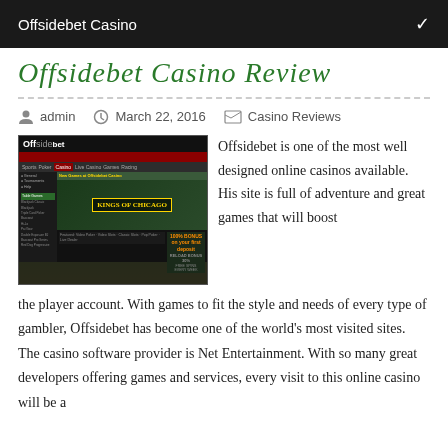Offsidebet Casino
Offsidebet Casino Review
admin   March 22, 2016   Casino Reviews
[Figure (screenshot): Screenshot of the Offsidebet Casino website showing the Kings of Chicago game banner and casino lobby interface]
Offsidebet is one of the most well designed online casinos available. His site is full of adventure and great games that will boost the player account. With games to fit the style and needs of every type of gambler, Offsidebet has become one of the world's most visited sites. The casino software provider is Net Entertainment. With so many great developers offering games and services, every visit to this online casino will be a